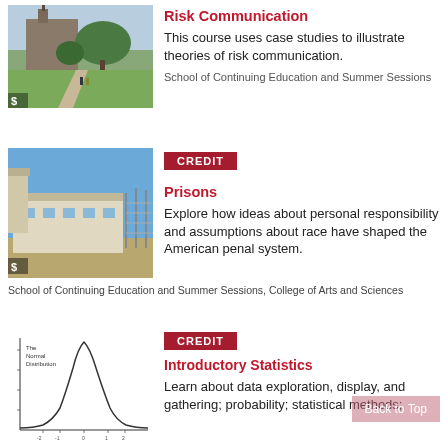[Figure (photo): University campus with clock tower and green lawn]
Risk Communication
This course uses case studies to illustrate theories of risk communication.
School of Continuing Education and Summer Sessions
[Figure (photo): Prison facility with guard tower and chain-link fence]
CREDIT
Prisons
Explore how ideas about personal responsibility and assumptions about race have shaped the American penal system.
School of Continuing Education and Summer Sessions, College of Arts and Sciences
[Figure (continuous-plot): Normal distribution bell curve chart labeled 'The Normal Distribution']
CREDIT
Introductory Statistics
Learn about data exploration, display, and gathering; probability; statistical methods;